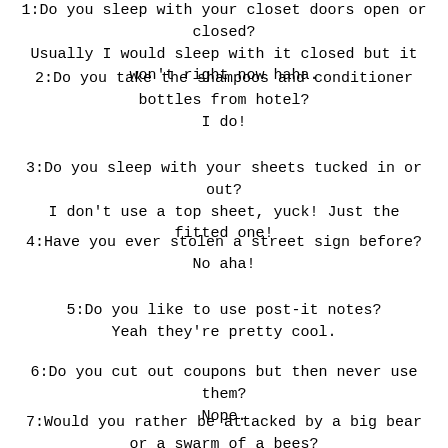1:Do you sleep with your closet doors open or closed?
Usually I would sleep with it closed but it won't right now haha.
2:Do you take the shampoos and conditioner bottles from hotel?
I do!
3:Do you sleep with your sheets tucked in or out?
I don't use a top sheet, yuck! Just the fitted one!
4:Have you ever stolen a street sign before?
No aha!
5:Do you like to use post-it notes?
Yeah they're pretty cool.
6:Do you cut out coupons but then never use them?
Nope.
7:Would you rather be attacked by a big bear or a swarm of a bees?